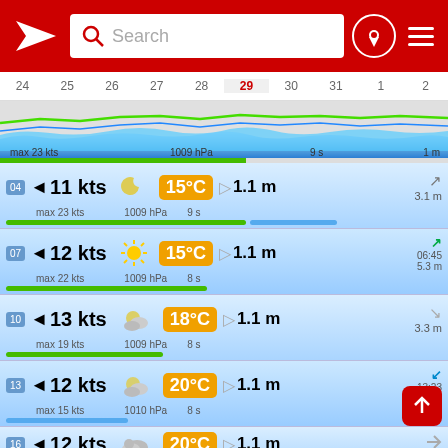Windfinder app header with search bar
[Figure (continuous-plot): Wind and wave timeline chart showing dates 24-2, with colored bands for wind speed, wave height, and pressure. Green line for swell period, blue for waves.]
max 23 kts   1009 hPa   9 s   1 m
04  11 kts  max 23 kts  15°C  1009 hPa  1.1 m  9 s  3.1 m
07  12 kts  max 22 kts  15°C  1009 hPa  1.1 m  8 s  06:45  5.3 m
10  13 kts  max 19 kts  18°C  1009 hPa  1.1 m  8 s  3.3 m
13  12 kts  max 15 kts  20°C  1010 hPa  1.1 m  8 s  13:23  1 m
16  12 kts  20°C  1.1 m